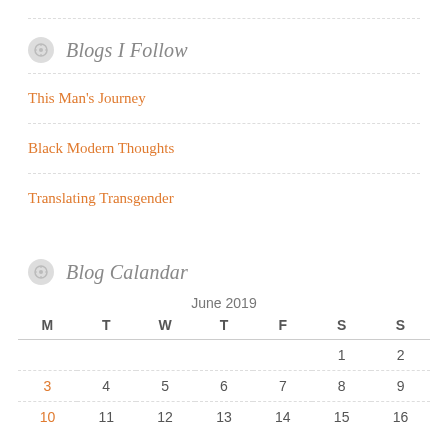Blogs I Follow
This Man's Journey
Black Modern Thoughts
Translating Transgender
Blog Calandar
| M | T | W | T | F | S | S |
| --- | --- | --- | --- | --- | --- | --- |
|  |  |  |  |  | 1 | 2 |
| 3 | 4 | 5 | 6 | 7 | 8 | 9 |
| 10 | 11 | 12 | 13 | 14 | 15 | 16 |